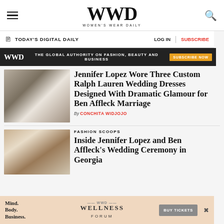WWD — Women's Wear Daily
TODAY'S DIGITAL DAILY | LOG IN | SUBSCRIBE
[Figure (infographic): WWD ad banner: 'THE GLOBAL AUTHORITY ON FASHION, BEAUTY AND BUSINESS' with SUBSCRIBE NOW button]
[Figure (photo): Jennifer Lopez and Ben Affleck photo — couple in formal wear, white dress and tuxedo]
Jennifer Lopez Wore Three Custom Ralph Lauren Wedding Dresses Designed With Dramatic Glamour for Ben Affleck Marriage
By CONCHITA WIDJOJO
[Figure (photo): Close-up detail photo of wedding attire]
FASHION SCOOPS
Inside Jennifer Lopez and Ben Affleck's Wedding Ceremony in Georgia
[Figure (infographic): Bottom ad: Mind. Body. Business. WWD WELLNESS FORUM — BUY TICKETS]